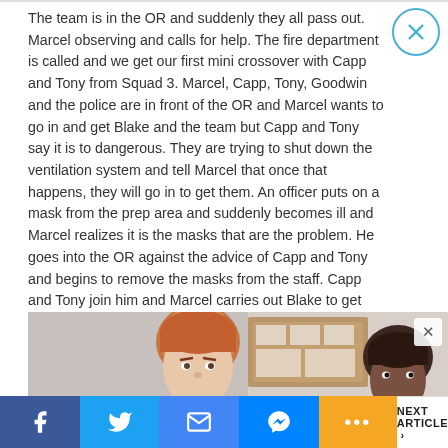The team is in the OR and suddenly they all pass out. Marcel observing and calls for help. The fire department is called and we get our first mini crossover with Capp and Tony from Squad 3. Marcel, Capp, Tony, Goodwin and the police are in front of the OR and Marcel wants to go in and get Blake and the team but Capp and Tony say it is to dangerous. They are trying to shut down the ventilation system and tell Marcel that once that happens, they will go in to get them. An officer puts on a mask from the prep area and suddenly becomes ill and Marcel realizes it is the masks that are the problem. He goes into the OR against the advice of Capp and Tony and begins to remove the masks from the staff. Capp and Tony join him and Marcel carries out Blake to get her medical help.
[Figure (photo): Two male actors from a TV show, one with reddish-brown hair in foreground, one with dark skin in background right, standing in what appears to be a hospital/office setting with bulletin boards visible.]
Facebook | Twitter | Email | Messenger | More | NEXT ARTICLE >